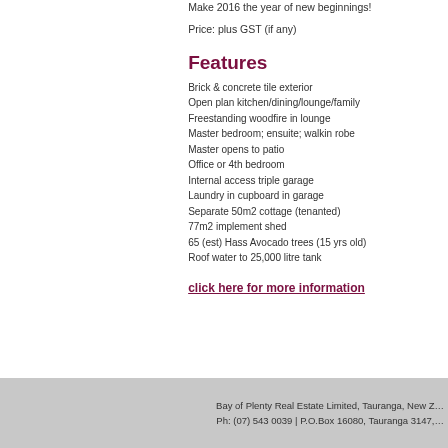Make 2016 the year of new beginnings!
Price: plus GST (if any)
Features
Brick & concrete tile exterior
Open plan kitchen/dining/lounge/family
Freestanding woodfire in lounge
Master bedroom; ensuite; walkin robe
Master opens to patio
Office or 4th bedroom
Internal access triple garage
Laundry in cupboard in garage
Separate 50m2 cottage (tenanted)
77m2 implement shed
65 (est) Hass Avocado trees (15 yrs old)
Roof water to 25,000 litre tank
click here for more information
Bay of Plenty Real Estate Limited, Tauranga, New Z…
Ph: (07) 543 0039 | P.O.Box 16080, Tauranga 3147,…